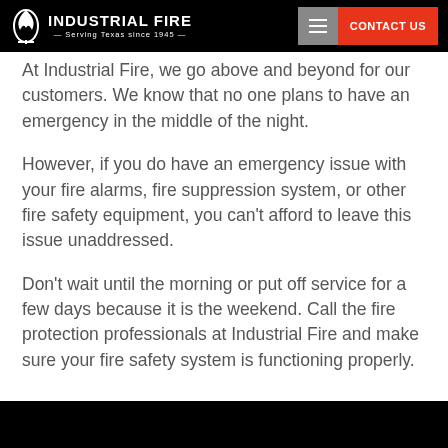Industrial Fire — Serving Texas since 1945 — CONTACT US
At Industrial Fire, we go above and beyond for our customers. We know that no one plans to have an emergency in the middle of the night.
However, if you do have an emergency issue with your fire alarms, fire suppression system, or other fire safety equipment, you can't afford to leave this issue unaddressed.
Don't wait until the morning or put off service for a few days because it is the weekend. Call the fire protection professionals at Industrial Fire and make sure your fire safety system is functioning properly.